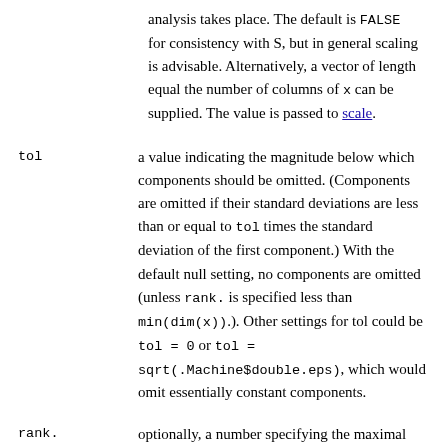analysis takes place. The default is FALSE for consistency with S, but in general scaling is advisable. Alternatively, a vector of length equal the number of columns of x can be supplied. The value is passed to scale.
tol — a value indicating the magnitude below which components should be omitted. (Components are omitted if their standard deviations are less than or equal to tol times the standard deviation of the first component.) With the default null setting, no components are omitted (unless rank. is specified less than min(dim(x)).). Other settings for tol could be tol = 0 or tol = sqrt(.Machine$double.eps), which would omit essentially constant components.
rank. — optionally, a number specifying the maximal rank, i.e., maximal number of principal components to be